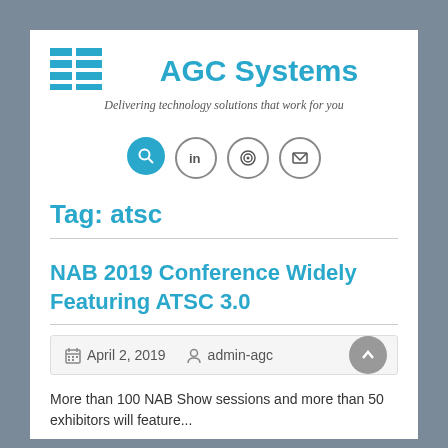AGC Systems
Delivering technology solutions that work for you
Tag: atsc
NAB 2019 Conference Widely Featuring ATSC 3.0
April 2, 2019   admin-agc
More than 100 NAB Show sessions and more than 50 exhibitors will feature...